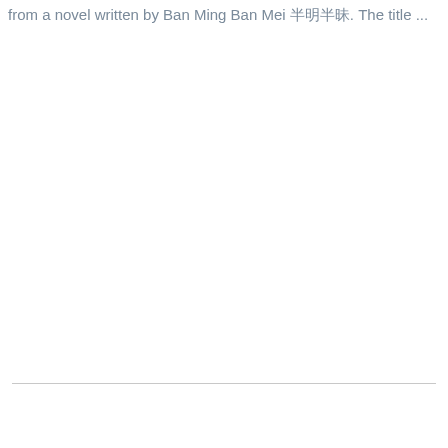from a novel written by Ban Ming Ban Mei 半明半昧. The title ...